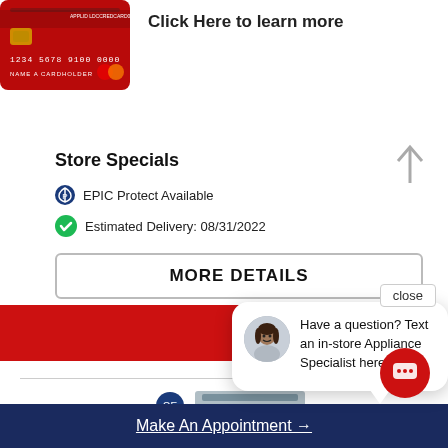[Figure (illustration): Red credit card with numbers 1234 5678 9100 0000 and NAME A CARDHOLDER text]
Click Here to learn more
Store Specials
EPIC Protect Available
Estimated Delivery: 08/31/2022
MORE DETAILS
close
Have a question? Text an in-store Appliance Specialist here.
[Figure (photo): Appliance product image, gray/silver front-load appliance]
Make An Appointment →